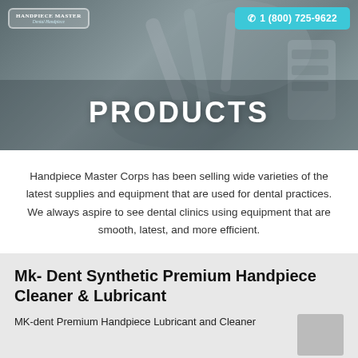[Figure (photo): Dental handpiece equipment in a clinical setting, grayscale background photo]
Handpiece Master | 1 (800) 725-9622
PRODUCTS
Handpiece Master Corps has been selling wide varieties of the latest supplies and equipment that are used for dental practices. We always aspire to see dental clinics using equipment that are smooth, latest, and more efficient.
Mk- Dent Synthetic Premium Handpiece Cleaner & Lubricant
MK-dent Premium Handpiece Lubricant and Cleaner